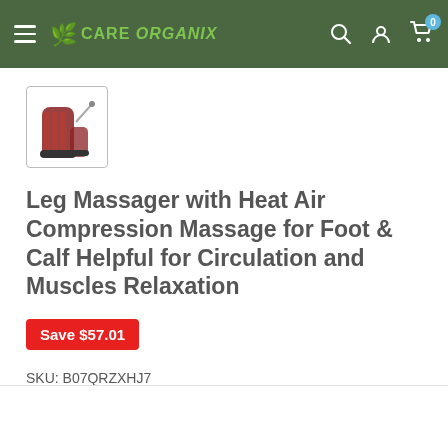Care Organix — navigation header with logo, search, account, and cart (0)
[Figure (photo): Thumbnail image of a leg massager boot product, reddish-brown color]
Leg Massager with Heat Air Compression Massage for Foot & Calf Helpful for Circulation and Muscles Relaxation
Save $57.01
SKU: B07QRZXHJ7